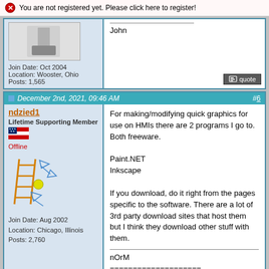You are not registered yet. Please click here to register!
John
Join Date: Oct 2004
Location: Wooster, Ohio
Posts: 1,565
December 2nd, 2021, 09:46 AM #6
ndzied1
Lifetime Supporting Member
Offline
Join Date: Aug 2002
Location: Chicago, Illinois
Posts: 2,760
For making/modifying quick graphics for use on HMIs there are 2 programs I go to. Both freeware.

Paint.NET
Inkscape

If you download, do it right from the pages specific to the software. There are a lot of 3rd party download sites that host them but I think they download other stuff with them.

nOrM
====================